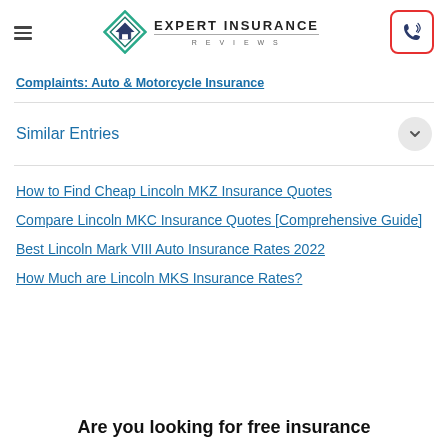[Figure (logo): Expert Insurance Reviews logo with diamond shape and phone button in header]
Complaints: Auto & Motorcycle Insurance
Similar Entries
How to Find Cheap Lincoln MKZ Insurance Quotes
Compare Lincoln MKC Insurance Quotes [Comprehensive Guide]
Best Lincoln Mark VIII Auto Insurance Rates 2022
How Much are Lincoln MKS Insurance Rates?
Are you looking for free insurance